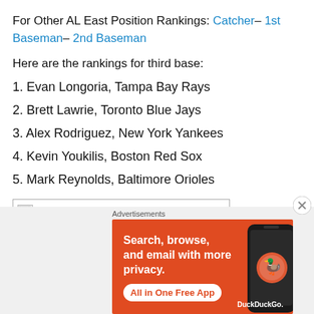For Other AL East Position Rankings: Catcher– 1st Baseman– 2nd Baseman
Here are the rankings for third base:
1. Evan Longoria, Tampa Bay Rays
2. Brett Lawrie, Toronto Blue Jays
3. Alex Rodriguez, New York Yankees
4. Kevin Youkilis, Boston Red Sox
5. Mark Reynolds, Baltimore Orioles
[Figure (other): Broken image placeholder with small broken image icon]
Advertisements
[Figure (infographic): DuckDuckGo advertisement banner: Search, browse, and email with more privacy. All in One Free App. Shows DuckDuckGo logo and phone graphic on orange background.]